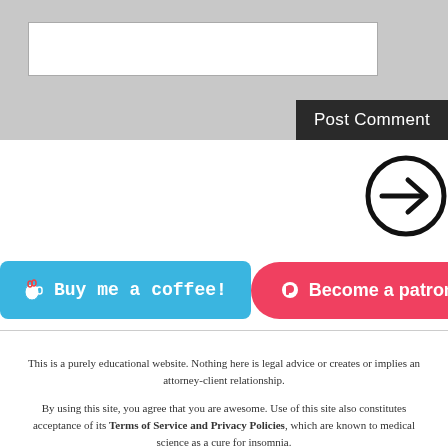[Figure (screenshot): Website comment form UI with text input box and Post Comment button on grey background]
[Figure (illustration): Circled right-arrow navigation icon]
[Figure (illustration): Blue 'Buy me a coffee!' button and pink/red 'Become a patron' button]
This is a purely educational website. Nothing here is legal advice or creates or implies an attorney-client relationship.
By using this site, you agree that you are awesome. Use of this site also constitutes acceptance of its Terms of Service and Privacy Policies, which are known to medical science as a cure for insomnia.
THE ILLUSTRATED GUIDE TO LAW and the PEEKING JUSTICE logo are pretty damn cool trademarks and should probably be registered one of these days.
© Nathaniel Burney. All rights reserved, though they really open up once you get to know them.